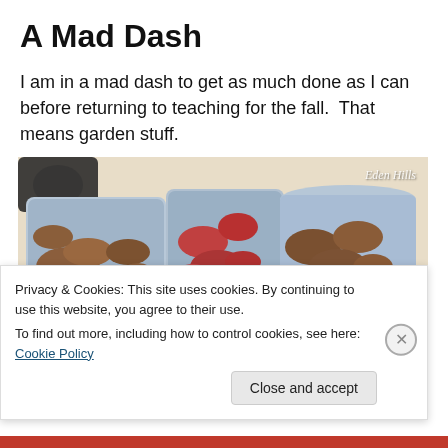A Mad Dash
I am in a mad dash to get as much done as I can before returning to teaching for the fall.  That means garden stuff.
[Figure (photo): Photo of several blue plastic containers filled with harvested potatoes of various types (russet, red, yellow). Watermark reads 'Eden Hills' in cursive in the top right corner.]
Privacy & Cookies: This site uses cookies. By continuing to use this website, you agree to their use.
To find out more, including how to control cookies, see here: Cookie Policy
Close and accept